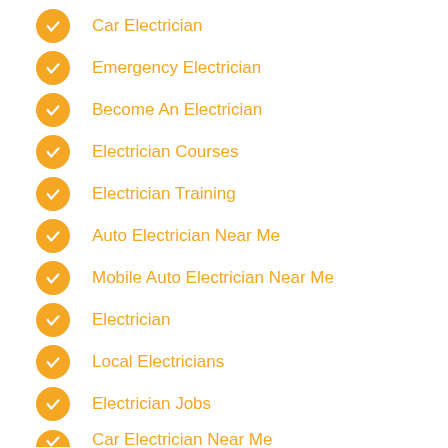Car Electrician
Emergency Electrician
Become An Electrician
Electrician Courses
Electrician Training
Auto Electrician Near Me
Mobile Auto Electrician Near Me
Electrician
Local Electricians
Electrician Jobs
Car Electrician Near Me